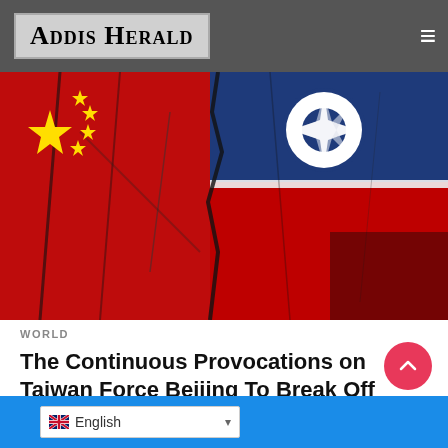Addis Herald
[Figure (photo): Close-up of Chinese flag and Taiwan flag painted on a cracked wall surface, dramatically juxtaposed]
WORLD
The Continuous Provocations on Taiwan Force Beijing To Break Off Multiple Forms Of Dialogue With The US